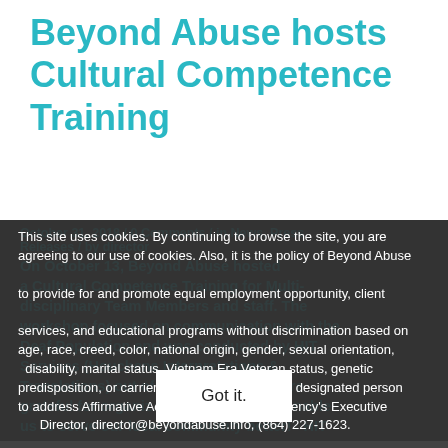Beyond Abuse hosts Cultural Competence Training
October 31, 2018 / 0 Comments / in News, Press Releases / by director
This site uses cookies. By continuing to browse the site, you are agreeing to our use of cookies. Also, it is the policy of Beyond Abuse to provide for and promote equal employment opportunity, client services, and educational programs without discrimination based on age, race, creed, color, national origin, gender, sexual orientation, disability, marital status, Vietnam Era Veteran status, genetic predisposition, or carrier status. Beyond Abuse's designated person to address Affirmative Action concerns is the agency's Executive Director, director@beyondabuse.info, (864) 227-1623.
On October 13, Beyond Abuse hosted a Cultural Competence Training for Multi-disciplinary Team Members and staff. The workshop focused on communication with the Deaf Population and was conducted by HIT Services (Houchens Interpretations & Translations) out of Greenville, SC. We're grateful for organizations like HIT that enable us to serve our local community better! HIT
Got it.